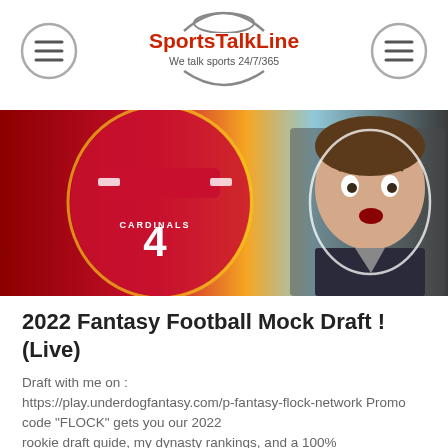SportsTalkLine — We talk sports 24/7/365
[Figure (photo): Hero image showing an Arizona Cardinals football player wearing jersey number 4 on the left, and a man in a suit with a surprised expression on the right, with a colorful background.]
2022 Fantasy Football Mock Draft ! (Live)
Draft with me on : https://play.underdogfantasy.com/p-fantasy-flock-network Promo code "FLOCK" gets you our 2022 rookie draft guide, my dynasty rankings, and a 100%